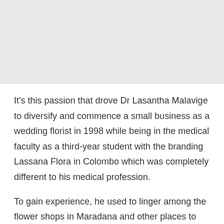[Figure (photo): Light gray rectangular placeholder image at the top of the page]
It's this passion that drove Dr Lasantha Malavige to diversify and commence a small business as a wedding florist in 1998 while being in the medical faculty as a third-year student with the branding Lassana Flora in Colombo which was completely different to his medical profession.
To gain experience, he used to linger among the flower shops in Maradana and other places to study the trends, arrangements and designs and even travelled to Meepirimana in Nuwara Eliya to find suppliers and to